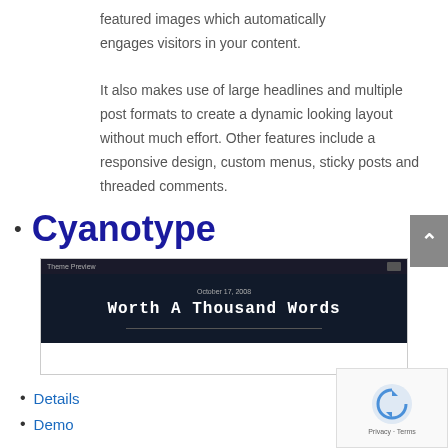featured images which automatically engages visitors in your content.
It also makes use of large headlines and multiple post formats to create a dynamic looking layout without much effort. Other features include a responsive design, custom menus, sticky posts and threaded comments.
Cyanotype
[Figure (screenshot): Theme Preview screenshot showing a dark-themed blog post titled 'Worth A Thousand Words' dated October 17, 2008]
Details
Demo